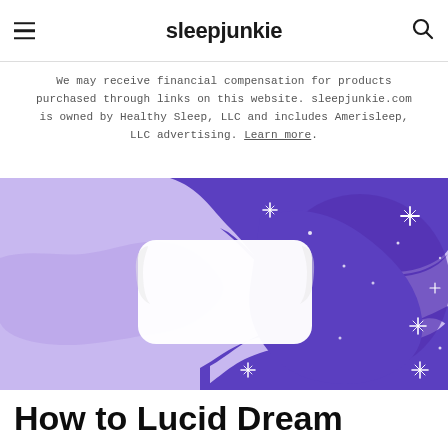sleepjunkie
We may receive financial compensation for products purchased through links on this website. sleepjunkie.com is owned by Healthy Sleep, LLC and includes Amerisleep, LLC advertising. Learn more.
[Figure (illustration): Hero illustration of a white pillow on a purple/violet wavy background with white sparkle stars scattered around, light purple on left side and deep purple on right side.]
How to Lucid Dream